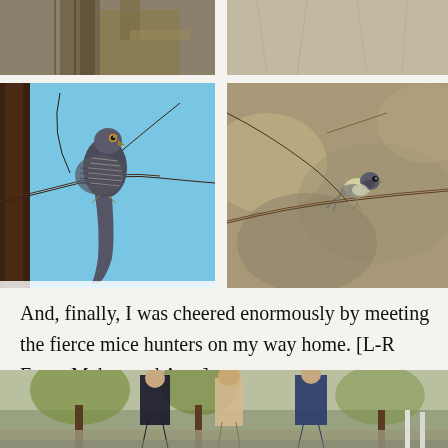[Figure (photo): Partial top photo of tree bark/branch, cropped at top]
[Figure (photo): Partial top-right photo of blurred foliage/grass, cropped at top]
[Figure (photo): Photo of a hawk/sparrowhawk perched on a branch against blue sky]
[Figure (photo): Photo of a small bird (likely a Gerygone/fairy-wren) perched on a branch with blurred background]
And, finally, I was cheered enormously by meeting the fierce mice hunters on my way home. [L-R Fynn, Makea and Ama]
[Figure (photo): Partial bottom photo showing three people (Fynn, Makea and Ama) walking in a park, partially cropped]